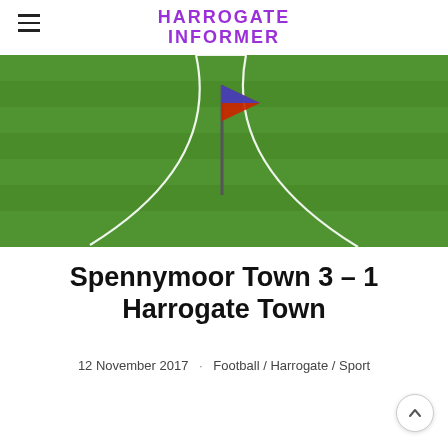HARROGATE INFORMER
[Figure (photo): Football pitch corner with a red and blue corner flag on green grass, showing white corner arc lines]
Spennymoor Town 3 – 1 Harrogate Town
12 November 2017  ·  Football / Harrogate / Sport